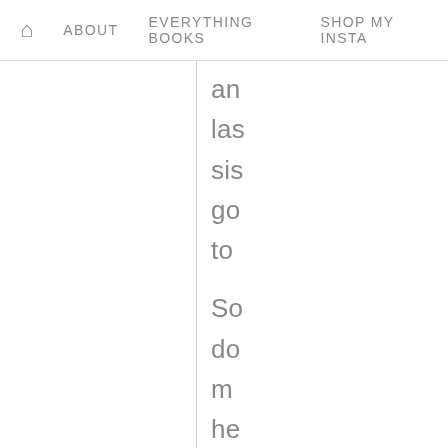ABOUT   EVERYTHING BOOKS   SHOP MY INSTA
an las sis go to So do m he ou Fo